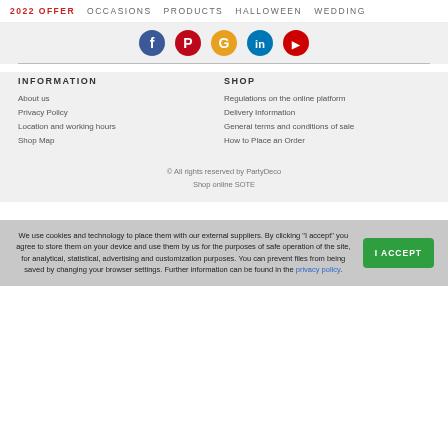2022 OFFER   OCCASIONS   PRODUCTS   HALLOWEEN   WEDDING
[Figure (illustration): Row of five social media icon circles: Facebook (blue), Pinterest (red), Google/multicolor (yellow-red), LinkedIn (blue), YouTube (red)]
INFORMATION
About us
Privacy Policy
Location and working hours
Shop Map
SHOP
Regulations on the online platform
Delivery Information
General terms and conditions of sale
How to Place an Order
© All rights reserved by PartyDeco
Shop online SOTE
We use cookies and technology to place them with our external suppliers. By clicking "I accept" you agree to store them on your device and use them by us for the purposes of safe operation of the site, for analytical, statistical, advertising and customization purposes. You can prevent files from being saved by changing your browser settings. Further information can be found in the privacy policy.